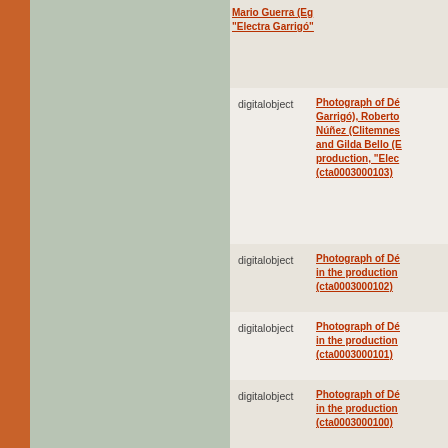Mario Guerra (Eg... "Electra Garrigó" ...
digitalobject
Photograph of Dé... Garrigó), Roberto... Núñez (Clitemnes... and Gilda Bello (E... production, "Elec... (cta0003000103)
digitalobject
Photograph of Dé... in the production... (cta0003000102)
digitalobject
Photograph of Dé... in the production... (cta0003000101)
digitalobject
Photograph of Dé... in the production... (cta0003000100)
digitalobject
Photograph of Dé... in the production... (cta0003000099)